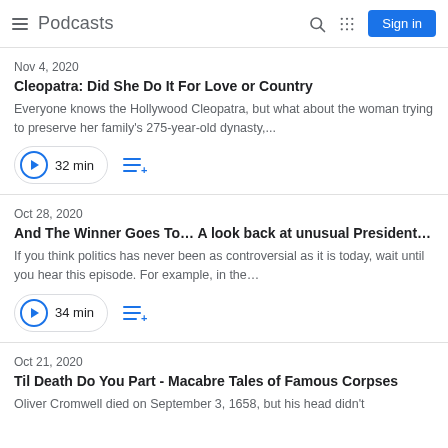Podcasts
Nov 4, 2020
Cleopatra: Did She Do It For Love or Country
Everyone knows the Hollywood Cleopatra, but what about the woman trying to preserve her family's 275-year-old dynasty,...
32 min
Oct 28, 2020
And The Winner Goes To… A look back at unusual President…
If you think politics has never been as controversial as it is today, wait until you hear this episode. For example, in the…
34 min
Oct 21, 2020
Til Death Do You Part - Macabre Tales of Famous Corpses
Oliver Cromwell died on September 3, 1658, but his head didn't